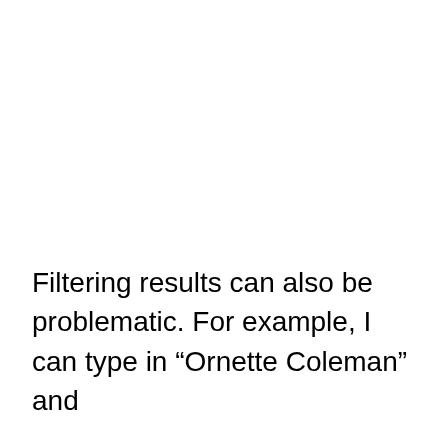Filtering results can also be problematic. For example, I can type in “Ornette Coleman” and